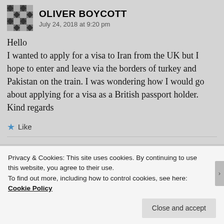OLIVER BOYCOTT
July 24, 2018 at 9:20 pm
Hello
I wanted to apply for a visa to Iran from the UK but I hope to enter and leave via the borders of turkey and Pakistan on the train. I was wondering how I would go about applying for a visa as a British passport holder.
Kind regards
Like
Privacy & Cookies: This site uses cookies. By continuing to use this website, you agree to their use.
To find out more, including how to control cookies, see here: Cookie Policy
Close and accept